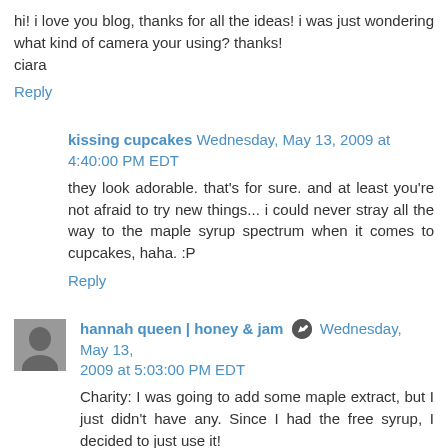hi! i love you blog, thanks for all the ideas! i was just wondering what kind of camera your using? thanks!
ciara
Reply
kissing cupcakes  Wednesday, May 13, 2009 at 4:40:00 PM EDT
they look adorable. that's for sure. and at least you're not afraid to try new things... i could never stray all the way to the maple syrup spectrum when it comes to cupcakes, haha. :P
Reply
hannah queen | honey & jam  Wednesday, May 13, 2009 at 5:03:00 PM EDT
Charity: I was going to add some maple extract, but I just didn't have any. Since I had the free syrup, I decided to just use it!